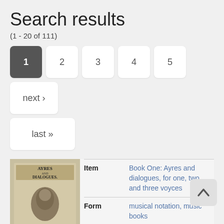Search results
(1 - 20 of 111)
1  2  3  4  5  next ›  last »
|  | Label | Value |
| --- | --- | --- |
| [thumbnail] | Item | Book One: Ayres and dialogues, for one, two, and three voyces |
|  | Form | musical notation, music books |
|  | Songscape | Songscapes Conference |
|  | Label | Value |
| --- | --- | --- |
| [thumbnail] | Item | As Caelia rested in the shade |